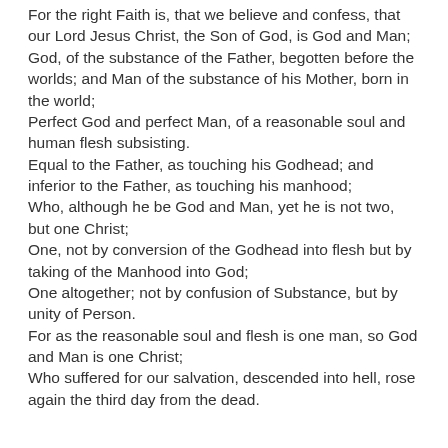For the right Faith is, that we believe and confess, that our Lord Jesus Christ, the Son of God, is God and Man; God, of the substance of the Father, begotten before the worlds; and Man of the substance of his Mother, born in the world; Perfect God and perfect Man, of a reasonable soul and human flesh subsisting. Equal to the Father, as touching his Godhead; and inferior to the Father, as touching his manhood; Who, although he be God and Man, yet he is not two, but one Christ; One, not by conversion of the Godhead into flesh but by taking of the Manhood into God; One altogether; not by confusion of Substance, but by unity of Person. For as the reasonable soul and flesh is one man, so God and Man is one Christ; Who suffered for our salvation, descended into hell, rose again the third day from the dead.